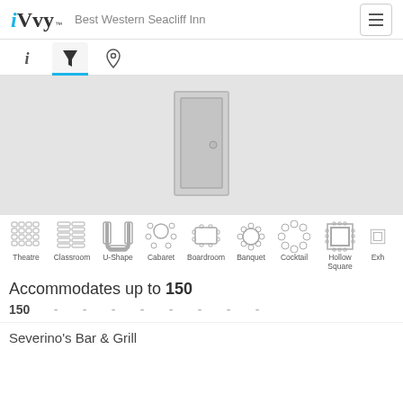iVvy — Best Western Seacliff Inn
[Figure (illustration): Navigation tab bar with info (i), filter (funnel icon, active with blue underline), and location (pin) icons]
[Figure (illustration): Venue interior placeholder image showing a door icon on grey background]
[Figure (infographic): Row of seating layout icons: Theatre, Classroom, U-Shape, Cabaret, Boardroom, Banquet, Cocktail, Hollow Square, Exhibition (partially visible)]
Accommodates up to 150
150  -  -  -  -  -  -  -  -
Severino's Bar & Grill